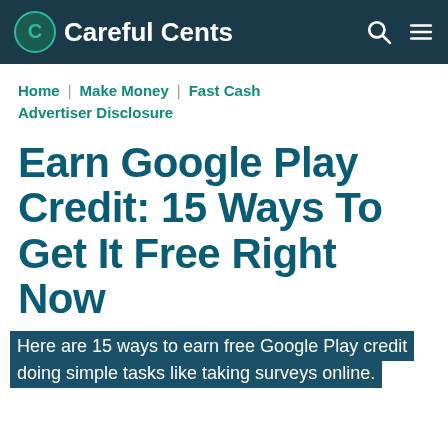Careful Cents
Home | Make Money | Fast Cash Advertiser Disclosure
Earn Google Play Credit: 15 Ways To Get It Free Right Now
Here are 15 ways to earn free Google Play credit doing simple tasks like taking surveys online.